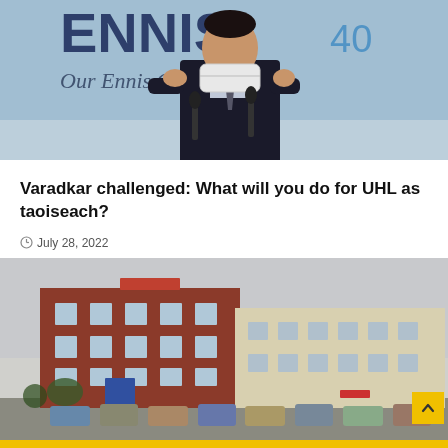[Figure (photo): Man in dark suit putting on or removing a white face mask at a press conference, standing in front of a blue banner reading 'ENNIS 40' and 'Our Ennis Our F...']
Varadkar challenged: What will you do for UHL as taoiseach?
July 28, 2022
[Figure (photo): Exterior of University Hospital Limerick (UHL) — red brick multi-storey building on the left and cream/beige building extending to the right, with a car park full of vehicles in front.]